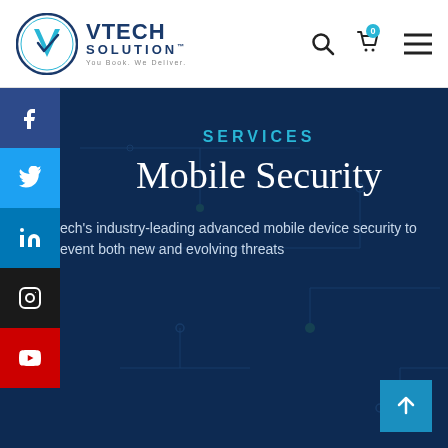[Figure (logo): VTech Solution logo — circular emblem with stylized V and checkmark in blue, with company name 'VTECH SOLUTION' and tagline 'You Book. We Deliver.']
SERVICES
Mobile Security
ech's industry-leading advanced mobile device security to event both new and evolving threats